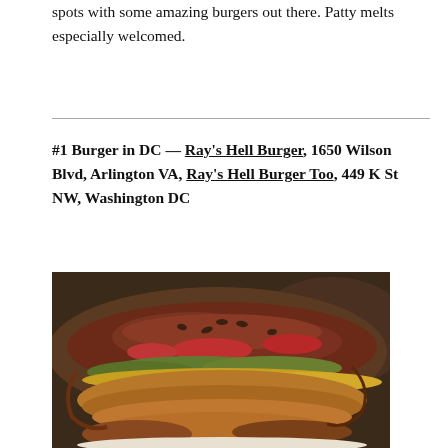spots with some amazing burgers out there. Patty melts especially welcomed.
#1 Burger in DC — Ray's Hell Burger, 1650 Wilson Blvd, Arlington VA, Ray's Hell Burger Too, 449 K St NW, Washington DC
[Figure (photo): Close-up photograph of a large burger, showing a thick meat patty with visible seasoning, toppings including lettuce and tomato, on a bun, viewed from the side.]